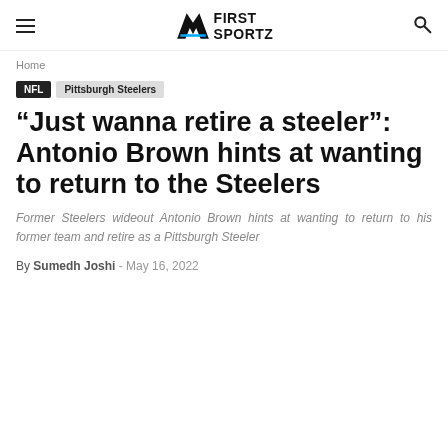First Sportz
Home
NFL  Pittsburgh Steelers
“Just wanna retire a steeler”: Antonio Brown hints at wanting to return to the Steelers
Former Steelers wideout Antonio Brown hints at wanting to return to his former team and retire as a Pittsburgh Steeler
By Sumedh Joshi - May 16, 2022